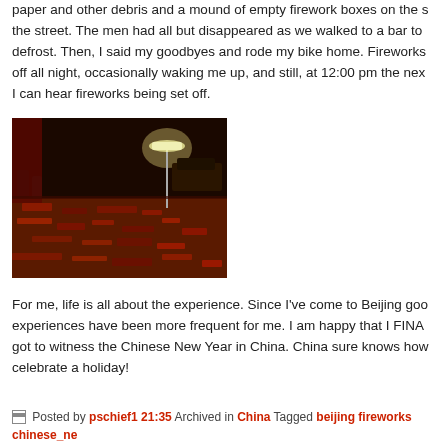paper and other debris and a mound of empty firework boxes on the street. The men had all but disappeared as we walked to a bar to defrost. Then, I said my goodbyes and rode my bike home. Fireworks off all night, occasionally waking me up, and still, at 12:00 pm the next I can hear fireworks being set off.
[Figure (photo): Night-time street scene covered in red firework debris and spent casings, with a street lamp illuminating the area and vehicles visible in the background.]
For me, life is all about the experience. Since I've come to Beijing good experiences have been more frequent for me. I am happy that I FINALLY got to witness the Chinese New Year in China. China sure knows how to celebrate a holiday!
Posted by pschief1 21:35 Archived in China Tagged beijing fireworks chinese_new_year spring_festival